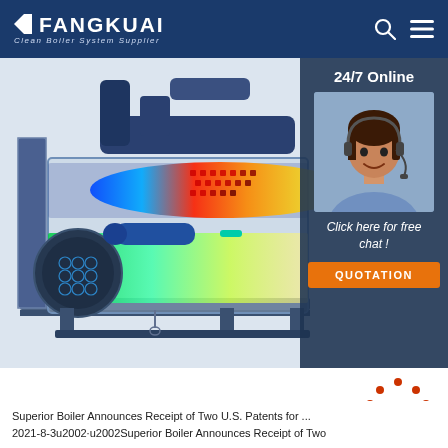FANGKUAI Clean Boiler System Supplier
[Figure (engineering-diagram): Cut-away 3D rendering of a Fangkuai industrial boiler showing internal combustion chamber with blue flame, heat gradient (red, orange, yellow, green), and structural tubes and fittings.]
[Figure (infographic): 24/7 Online support overlay with customer service agent photo, 'Click here for free chat!' text, and orange QUOTATION button.]
[Figure (other): Red TOP navigation button with three dot arc above the word TOP in red bold text.]
Superior Boiler Announces Receipt of Two U.S. Patents for ... 2021-8-3u2002·u2002Superior Boiler Announces Receipt of Two